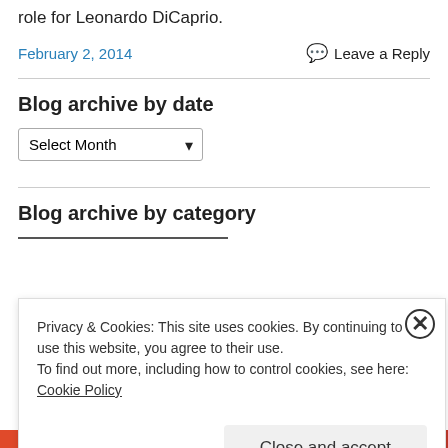role for Leonardo DiCaprio.
February 2, 2014
Leave a Reply
Blog archive by date
Select Month
Blog archive by category
Privacy & Cookies: This site uses cookies. By continuing to use this website, you agree to their use.
To find out more, including how to control cookies, see here: Cookie Policy
Close and accept